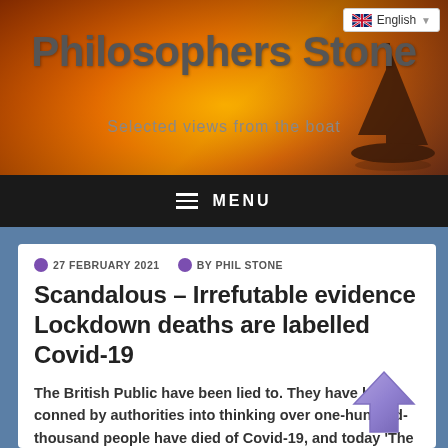Philosophers Stone — Selected views from the boat
MENU
27 FEBRUARY 2021   BY PHIL STONE
Scandalous – Irrefutable evidence Lockdown deaths are labelled Covid-19
The British Public have been lied to. They have been conned by authorities into thinking over one-hundred-thousand people have died of Covid-19, and today 'The Daily Expose' is going to prove it...